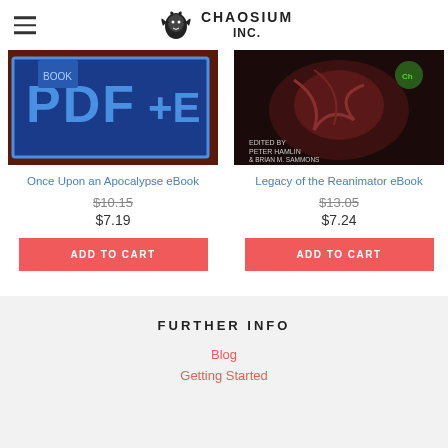Chaosium Inc.
[Figure (illustration): Book cover: Once Upon an Apocalypse eBook - blue PDF+E graphic]
Once Upon an Apocalypse eBook
$10.15 (strikethrough) $7.19
ADD TO CART
[Figure (illustration): Book cover: Legacy of the Reanimator eBook - dark cover edited by Peter Hamlin & Brian M. Sammons]
Legacy of the Reanimator eBook
$13.05 (strikethrough) $7.24
ADD TO CART
FURTHER INFO
Blog
Getting Started